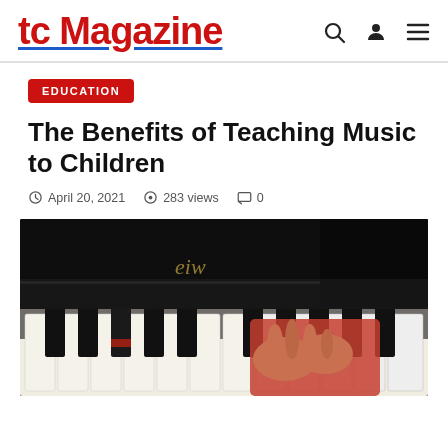tc Magazine
EDUCATION
The Benefits of Teaching Music to Children
April 20, 2021  283 views  0
[Figure (photo): Close-up photo of a child's hands playing piano keys, with a grand piano body visible in the background. The child is wearing a red sleeve.]